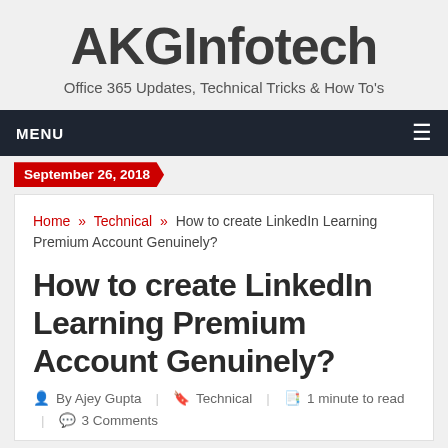AKGInfotech
Office 365 Updates, Technical Tricks & How To's
MENU
September 26, 2018
Home » Technical » How to create LinkedIn Learning Premium Account Genuinely?
How to create LinkedIn Learning Premium Account Genuinely?
By Ajey Gupta   Technical   1 minute to read   3 Comments